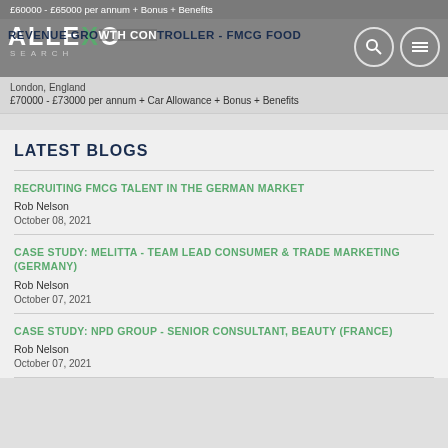£60000 - £65000 per annum + Bonus + Benefits
ALLEXO SEARCH
REVENUE GROWTH CONTROLLER - FMCG FOOD
London, England
£70000 - £73000 per annum + Car Allowance + Bonus + Benefits
LATEST BLOGS
RECRUITING FMCG TALENT IN THE GERMAN MARKET
Rob Nelson
October 08, 2021
CASE STUDY: MELITTA - TEAM LEAD CONSUMER & TRADE MARKETING (GERMANY)
Rob Nelson
October 07, 2021
CASE STUDY: NPD GROUP - SENIOR CONSULTANT, BEAUTY (FRANCE)
Rob Nelson
October 07, 2021